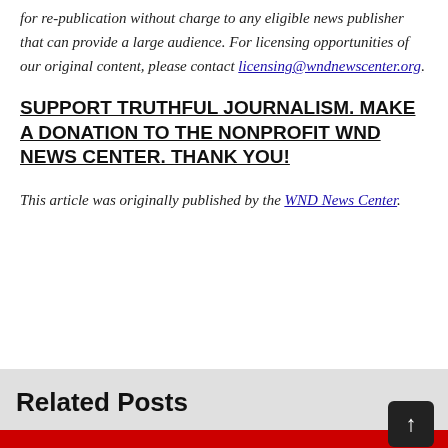for re-publication without charge to any eligible news publisher that can provide a large audience. For licensing opportunities of our original content, please contact licensing@wndnewscenter.org.
SUPPORT TRUTHFUL JOURNALISM. MAKE A DONATION TO THE NONPROFIT WND NEWS CENTER. THANK YOU!
This article was originally published by the WND News Center.
Related Posts